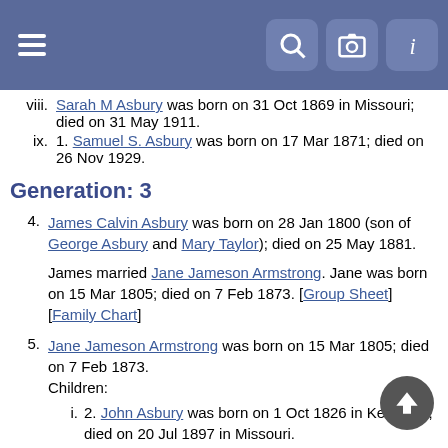Toolbar with hamburger menu, search, camera, and info icons
viii. Sarah M Asbury was born on 31 Oct 1869 in Missouri; died on 31 May 1911.
ix. 1. Samuel S. Asbury was born on 17 Mar 1871; died on 26 Nov 1929.
Generation: 3
4. James Calvin Asbury was born on 28 Jan 1800 (son of George Asbury and Mary Taylor); died on 25 May 1881.

James married Jane Jameson Armstrong. Jane was born on 15 Mar 1805; died on 7 Feb 1873. [Group Sheet] [Family Chart]
5. Jane Jameson Armstrong was born on 15 Mar 1805; died on 7 Feb 1873.
Children:
i. 2. John Asbury was born on 1 Oct 1826 in Kentucky; died on 20 Jul 1897 in Missouri.